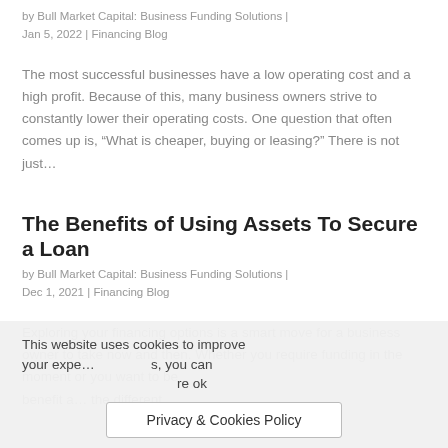by Bull Market Capital: Business Funding Solutions | Jan 5, 2022 | Financing Blog
The most successful businesses have a low operating cost and a high profit. Because of this, many business owners strive to constantly lower their operating costs. One question that often comes up is, “What is cheaper, buying or leasing?” There is not just…
The Benefits of Using Assets To Secure a Loan
by Bull Market Capital: Business Funding Solutions | Dec 1, 2021 | Financing Blog
Exploring your financing options is a smart move for a business owner to take now and then. Whether you require funding in the moment or you want to be benefit a… the different
This website uses cookies to improve your expe… s, you can
Privacy & Cookies Policy